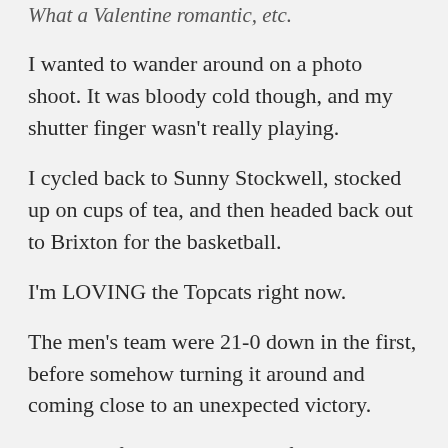What a Valentine romantic, etc.
I wanted to wander around on a photo shoot. It was bloody cold though, and my shutter finger wasn't really playing.
I cycled back to Sunny Stockwell, stocked up on cups of tea, and then headed back out to Brixton for the basketball.
I'm LOVING the Topcats right now.
The men's team were 21-0 down in the first, before somehow turning it around and coming close to an unexpected victory.
They just fell short come the final buzzer.